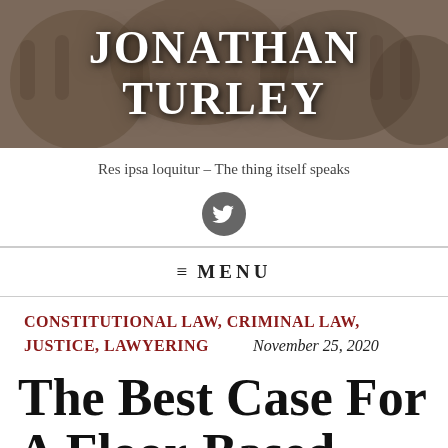JONATHAN TURLEY
Res ipsa loquitur – The thing itself speaks
[Figure (logo): Twitter bird icon in a dark grey circle]
≡ MENU
CONSTITUTIONAL LAW, CRIMINAL LAW, JUSTICE, LAWYERING
November 25, 2020
The Best Case For A Floor-Based